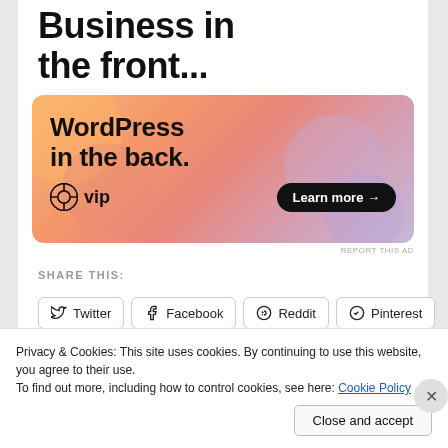Business in the front...
[Figure (illustration): WordPress VIP advertisement banner with orange/peach gradient background and abstract blob shapes. Text reads 'WordPress in the back.' with WordPress VIP logo and 'Learn more →' button.]
REPORT THIS AD
SHARE THIS:
Twitter
Facebook
Reddit
Pinterest
Privacy & Cookies: This site uses cookies. By continuing to use this website, you agree to their use.
To find out more, including how to control cookies, see here: Cookie Policy
Close and accept